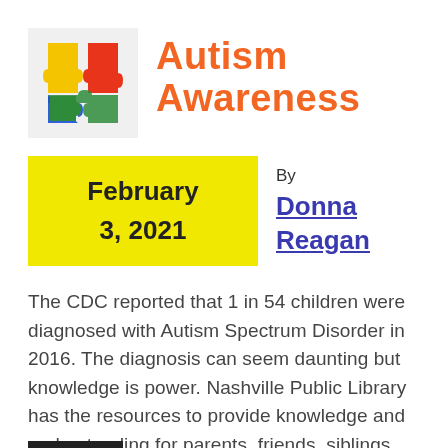[Figure (logo): Autism awareness puzzle piece logo with colorful interlocking pieces in red, yellow, green, and blue]
Autism Awareness
February 3, 2021
By Donna Reagan
The CDC reported that 1 in 54 children were diagnosed with Autism Spectrum Disorder in 2016. The diagnosis can seem daunting but knowledge is power. Nashville Public Library has the resources to provide knowledge and understanding for parents, friends, siblings and others.